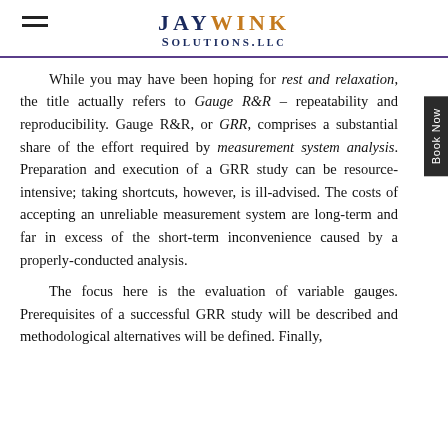JayWink Solutions, LLC
While you may have been hoping for rest and relaxation, the title actually refers to Gauge R&R – repeatability and reproducibility. Gauge R&R, or GRR, comprises a substantial share of the effort required by measurement system analysis. Preparation and execution of a GRR study can be resource-intensive; taking shortcuts, however, is ill-advised. The costs of accepting an unreliable measurement system are long-term and far in excess of the short-term inconvenience caused by a properly-conducted analysis.
The focus here is the evaluation of variable gauges. Prerequisites of a successful GRR study will be described and methodological alternatives will be defined. Finally,